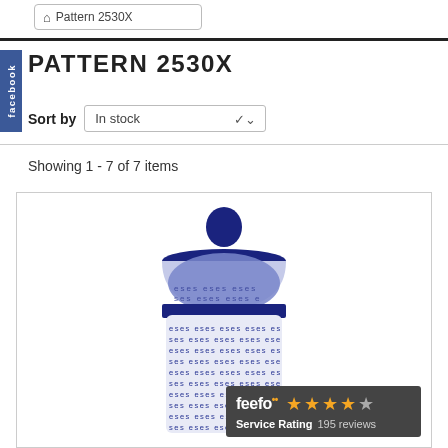Pattern 2530X
PATTERN 2530X
Sort by  In stock
Showing 1 - 7 of 7 items
[Figure (photo): Blue and white Polish pottery ceramic canister/jar with decorative swirl pattern and fitted lid with dark knob handle. A Feefo service rating badge showing 195 reviews is overlaid at the bottom right.]